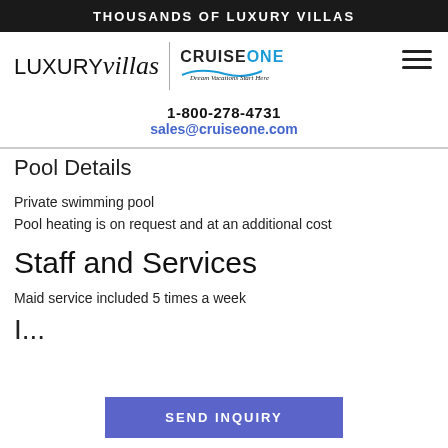THOUSANDS OF LUXURY VILLAS
[Figure (logo): LUXURYvillas | CRUISEONE Dream Vacations Start Here logo with hamburger menu icon]
1-800-278-4731
sales@cruiseone.com
Pool Details
Private swimming pool
Pool heating is on request and at an additional cost
Staff and Services
Maid service included 5 times a week
I...
SEND INQUIRY